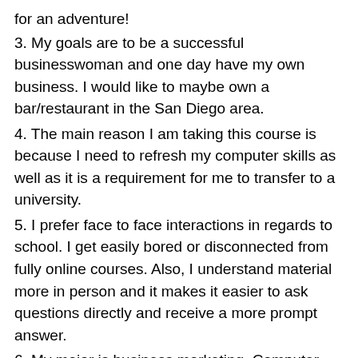for an adventure!
3. My goals are to be a successful businesswoman and one day have my own business. I would like to maybe own a bar/restaurant in the San Diego area.
4. The main reason I am taking this course is because I need to refresh my computer skills as well as it is a requirement for me to transfer to a university.
5. I prefer face to face interactions in regards to school. I get easily bored or disconnected from fully online courses. Also, I understand material more in person and it makes it easier to ask questions directly and receive a more prompt answer.
6. My major is business marketing. Computer knowledge is vital in today’s business world so I believe having a strong skill set in regards to computers will put you ahead of the rest.